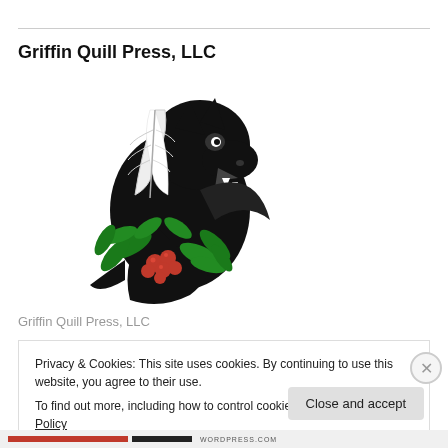Griffin Quill Press, LLC
[Figure (logo): Griffin Quill Press LLC logo: a black dragon/griffin head with a white quill feather and green leaves with red berries at the base]
Griffin Quill Press, LLC
Privacy & Cookies: This site uses cookies. By continuing to use this website, you agree to their use.
To find out more, including how to control cookies, see here: Cookie Policy
Close and accept